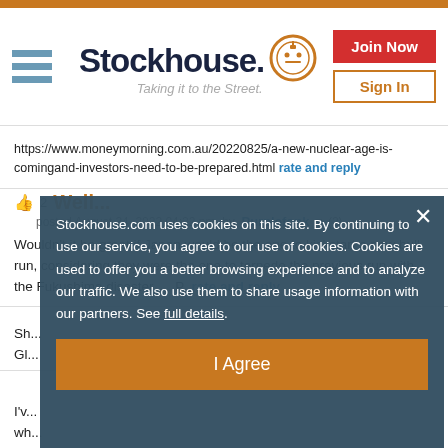[Figure (logo): Stockhouse logo with hamburger menu, site name 'Stockhouse. Taking it to the Street.' with robot head icon, and Join Now / Sign In buttons]
https://www.moneymorning.com.au/20220825/a-new-nuclear-age-is-comingand-investors-need-to-be-prepared.html  rate and reply
2  Well...
posted August 24, 2022 04:22 pm  by  Purplefonk ▼ (2)
Wouldn't it be great if Japan would be the one to kickstart a new bull run, considering they were the one to torpedo the previous run with the Fukushima disaster...   P  rate and reply
Sh... Gl...
I've... wh...
Stockhouse.com uses cookies on this site. By continuing to use our service, you agree to our use of cookies. Cookies are used to offer you a better browsing experience and to analyze our traffic. We also use them to share usage information with our partners. See full details.
I Agree